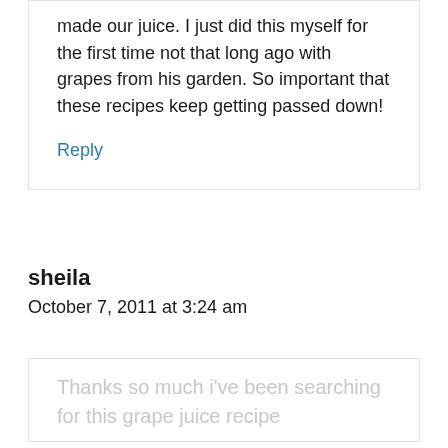made our juice. I just did this myself for the first time not that long ago with grapes from his garden. So important that these recipes keep getting passed down!
Reply
sheila
October 7, 2011 at 3:24 am
Thanks so much i've been searching for this grape juice recipe